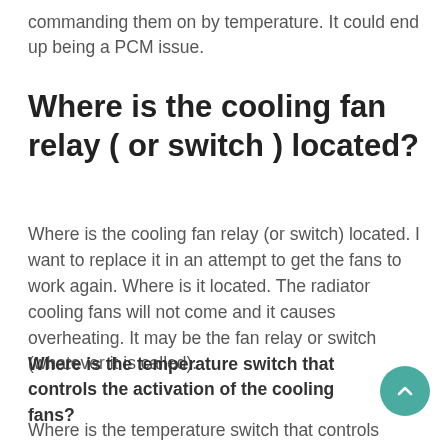commanding them on by temperature. It could end up being a PCM issue.
Where is the cooling fan relay ( or switch ) located?
Where is the cooling fan relay (or switch) located. I want to replace it in an attempt to get the fans to work again. Where is it located. The radiator cooling fans will not come and it causes overheating. It may be the fan relay or switch (whatever it is called).
Where is the temperature switch that controls the activation of the cooling fans?
Where is the temperature switch that controls